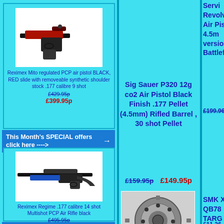[Figure (photo): Reximex Mito regulated PCP air pistol, black with red slide]
Reximex Mito regulated PCP air pistol BLACK, RED slide with removeable synthetic shoulder stock .177 calibre 9 shot
£429.95p
£399.95p
This Month's SPECIAL offers click here ---->
[Figure (photo): Reximex Regime .177 calibre 14 shot Multishot PCP Air Rifle black]
Reximex Regime .177 calibre 14 shot Multishot PCP Air Rifle black
£495.95p
£465.95p
This Month's SPECIAL offers
Sig Sauer P320 12g co2 Air Pistol Black Finish .177 Pellet (4.5mm) Rifled Barrel , 30 shot Pellet
£159.95p  £149.95p
[Figure (photo): Webley Mastiff magazine/cylinder component]
Webley Mastiff Air Rifle, Webley Raider 12 Air Rifle, Webley Eclipse PCP Air Pistol,
Service Revolver Air Pistol, 4.5mm version Battlefi
£199.96p
SMK XS QB78 TARG Multi Sh indexing only .2 (MAG
£11.26